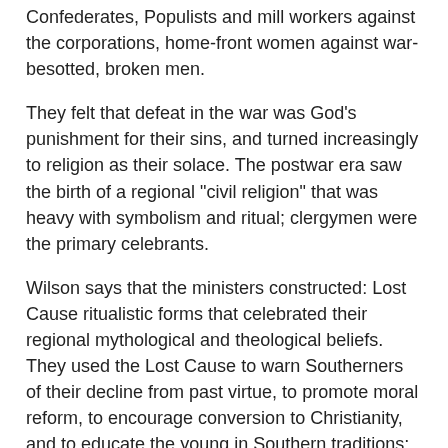Confederates, Populists and mill workers against the corporations, home-front women against war-besotted, broken men.
They felt that defeat in the war was God's punishment for their sins, and turned increasingly to religion as their solace. The postwar era saw the birth of a regional "civil religion" that was heavy with symbolism and ritual; clergymen were the primary celebrants.
Wilson says that the ministers constructed: Lost Cause ritualistic forms that celebrated their regional mythological and theological beliefs. They used the Lost Cause to warn Southerners of their decline from past virtue, to promote moral reform, to encourage conversion to Christianity, and to educate the young in Southern traditions; in the fullness of time, they related to American values.
The Lost Cause—defeat in a holy war—left southerners to